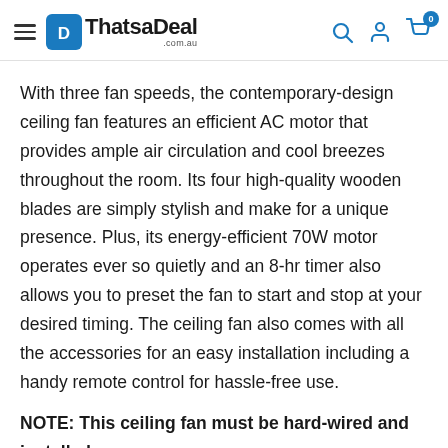ThatsaDeal .com.au
With three fan speeds, the contemporary-design ceiling fan features an efficient AC motor that provides ample air circulation and cool breezes throughout the room. Its four high-quality wooden blades are simply stylish and make for a unique presence. Plus, its energy-efficient 70W motor operates ever so quietly and an 8-hr timer also allows you to preset the fan to start and stop at your desired timing. The ceiling fan also comes with all the accessories for an easy installation including a handy remote control for hassle-free use.
NOTE: This ceiling fan must be hard-wired and installed